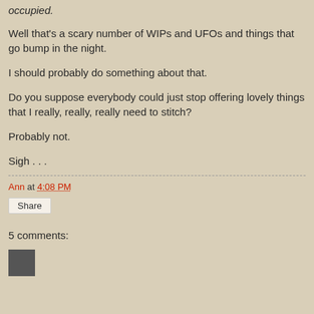occupied.
Well that's a scary number of WIPs and UFOs and things that go bump in the night.
I should probably do something about that.
Do you suppose everybody could just stop offering lovely things that I really, really, really need to stitch?
Probably not.
Sigh . . .
Ann at 4:08 PM
Share
5 comments: